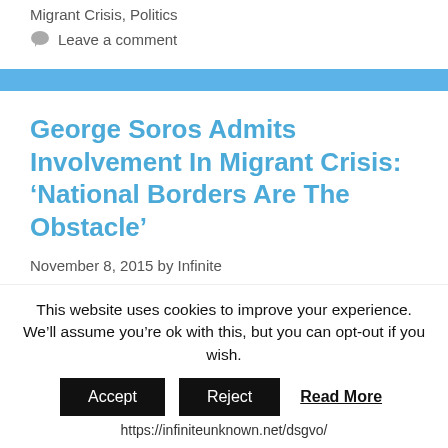Migrant Crisis, Politics
Leave a comment
George Soros Admits Involvement In Migrant Crisis: ‘National Borders Are The Obstacle’
November 8, 2015 by Infinite
– Soros Admits Involvement In Migrant Crisis: ‘National Borders Are The Obstacle’:
This website uses cookies to improve your experience. We’ll assume you’re ok with this, but you can opt-out if you wish.
Accept  Reject  Read More
https://infiniteunknown.net/dsgvo/